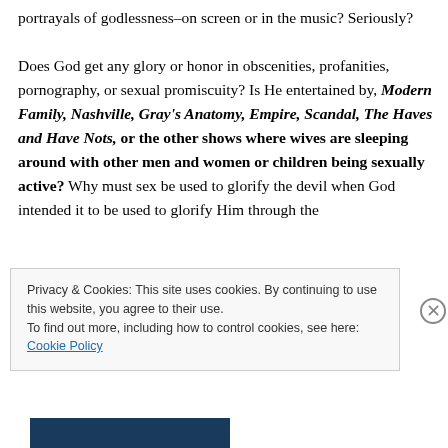portrayals of godlessness–on screen or in the music? Seriously?

Does God get any glory or honor in obscenities, profanities, pornography, or sexual promiscuity? Is He entertained by, Modern Family, Nashville, Gray's Anatomy, Empire, Scandal, The Haves and Have Nots, or the other shows where wives are sleeping around with other men and women or children being sexually active? Why must sex be used to glorify the devil when God intended it to be used to glorify Him through the
Privacy & Cookies: This site uses cookies. By continuing to use this website, you agree to their use.
To find out more, including how to control cookies, see here: Cookie Policy